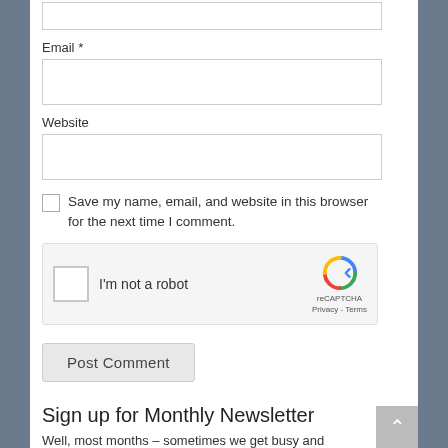Email *
[Figure (screenshot): Empty Email input text field]
Website
[Figure (screenshot): Empty Website input text field]
Save my name, email, and website in this browser for the next time I comment.
[Figure (screenshot): reCAPTCHA widget showing checkbox 'I'm not a robot' with reCAPTCHA logo, Privacy and Terms links]
[Figure (screenshot): Post Comment button]
Sign up for Monthly Newsletter
Well, most months – sometimes we get busy and